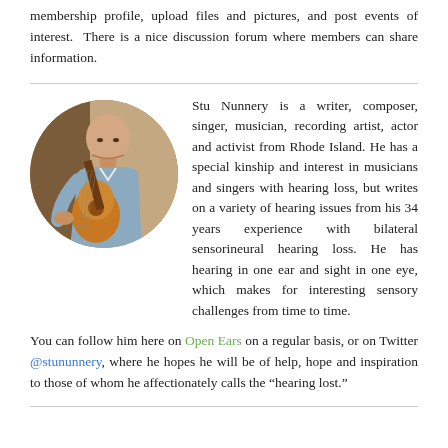membership profile, upload files and pictures, and post events of interest. There is a nice discussion forum where members can share information.
[Figure (photo): Circular photo of Stu Nunnery, a bald man playing an acoustic guitar, wearing a light blue shirt, photographed indoors.]
Stu Nunnery is a writer, composer, singer, musician, recording artist, actor and activist from Rhode Island. He has a special kinship and interest in musicians and singers with hearing loss, but writes on a variety of hearing issues from his 34 years experience with bilateral sensorineural hearing loss. He has hearing in one ear and sight in one eye, which makes for interesting sensory challenges from time to time.
You can follow him here on Open Ears on a regular basis, or on Twitter @stununnery, where he hopes he will be of help, hope and inspiration to those of whom he affectionately calls the “hearing lost.”